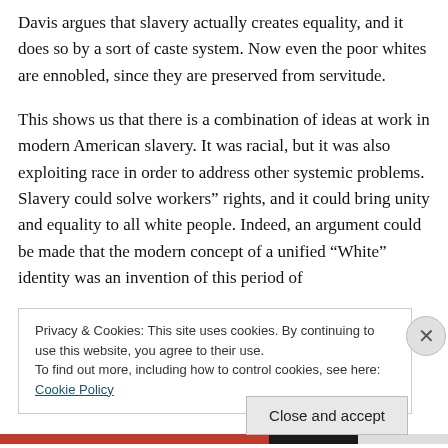Davis argues that slavery actually creates equality, and it does so by a sort of caste system. Now even the poor whites are ennobled, since they are preserved from servitude.
This shows us that there is a combination of ideas at work in modern American slavery. It was racial, but it was also exploiting race in order to address other systemic problems. Slavery could solve workers” rights, and it could bring unity and equality to all white people. Indeed, an argument could be made that the modern concept of a unified “White” identity was an invention of this period of
Privacy & Cookies: This site uses cookies. By continuing to use this website, you agree to their use.
To find out more, including how to control cookies, see here: Cookie Policy
Close and accept